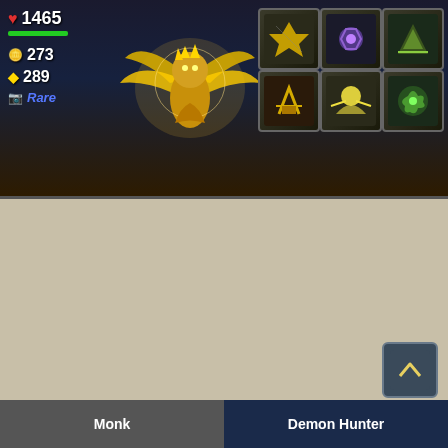[Figure (screenshot): Game UI screenshot showing a golden winged creature with stats: heart 1465, silver 273, gold 289, Rare label, and an ability icons grid with 6 icons on right side]
[Figure (screenshot): Battle Pet Slots panel showing Anubisath Idol (level 25, 1725/1725 HP, 3 ability icons) with character model, and Golden Dragonhawk Hatchling (level 25) below]
New Classes
[Figure (screenshot): Bottom tab bar with Monk and Demon Hunter tabs, and a scroll-up chevron button]